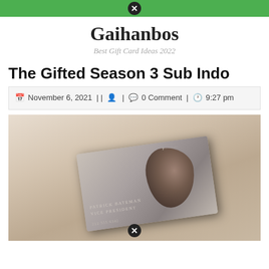Gaihanbos — Best Gift Card Ideas 2022 [navigation bar with close button]
Gaihanbos
Best Gift Card Ideas 2022
The Gifted Season 3 Sub Indo
November 6, 2021 || [user icon] | [comment icon] 0 Comment | [clock icon] 9:27 pm
[Figure (photo): A reflective metallic business card or DVD case with a blurred face visible, showing text 'Patrick Bateman, Vice President' and '212 555 6342', with a close/dismiss button overlay at the bottom.]